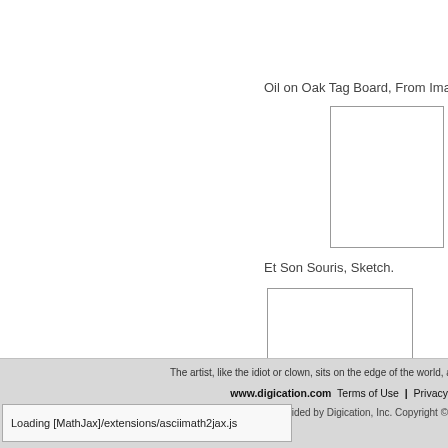Oil on Oak Tag Board, From Imagina…
[Figure (illustration): Blank white image placeholder box (tall rectangle)]
Et Son Souris, Sketch.
[Figure (illustration): Blank white image placeholder box (portrait rectangle)]
The artist, like the idiot or clown, sits on the edge of the world, and a
www.digication.com  Terms of Use  |  Privacy
Platform provided by Digication, Inc. Copyright ©
Loading [MathJax]/extensions/asciimath2jax.js